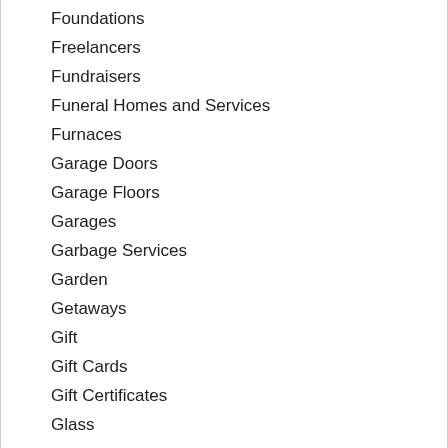Foundations
Freelancers
Fundraisers
Funeral Homes and Services
Furnaces
Garage Doors
Garage Floors
Garages
Garbage Services
Garden
Getaways
Gift
Gift Cards
Gift Certificates
Glass